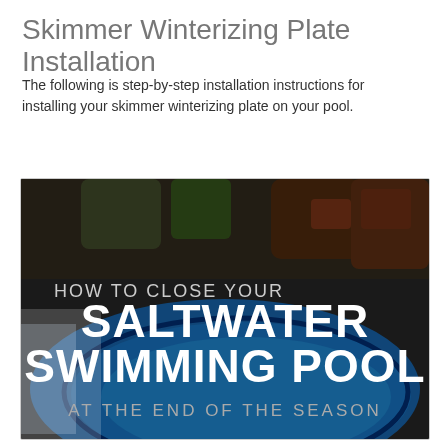Skimmer Winterizing Plate Installation
The following is step-by-step installation instructions for installing your skimmer winterizing plate on your pool.
[Figure (photo): Promotional image with a blurred background showing a blue oval saltwater swimming pool in a backyard setting. White text overlay reads: 'HOW TO CLOSE YOUR SALTWATER SWIMMING POOL AT THE END OF THE SEASON'.]